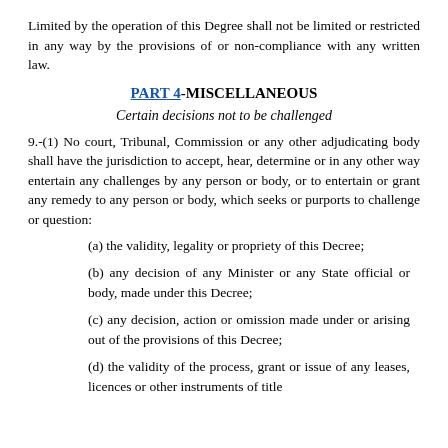Limited by the operation of this Degree shall not be limited or restricted in any way by the provisions of or non-compliance with any written law.
PART 4-MISCELLANEOUS
Certain decisions not to be challenged
9.-(1) No court, Tribunal, Commission or any other adjudicating body shall have the jurisdiction to accept, hear, determine or in any other way entertain any challenges by any person or body, or to entertain or grant any remedy to any person or body, which seeks or purports to challenge or question:
(a) the validity, legality or propriety of this Decree;
(b) any decision of any Minister or any State official or body, made under this Decree;
(c) any decision, action or omission made under or arising out of the provisions of this Decree;
(d) the validity of the process, grant or issue of any leases, licences or other instruments of title